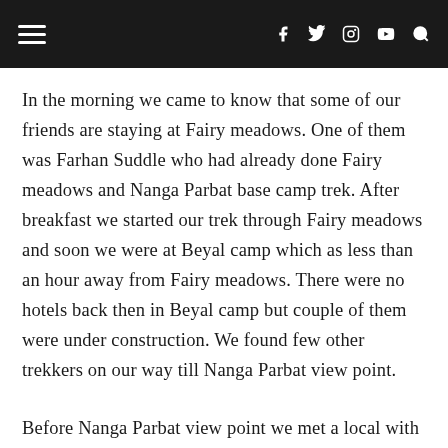In the morning we came to know that some of our friends are staying at Fairy meadows. One of them was Farhan Suddle who had already done Fairy meadows and Nanga Parbat base camp trek. After breakfast we started our trek through Fairy meadows and soon we were at Beyal camp which as less than an hour away from Fairy meadows. There were no hotels back then in Beyal camp but couple of them were under construction. We found few other trekkers on our way till Nanga Parbat view point.
Before Nanga Parbat view point we met a local with horse who was also going towards base camp. He told us something